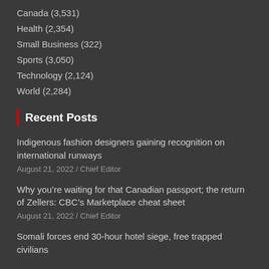Canada (3,531)
Health (2,354)
Small Business (322)
Sports (3,050)
Technology (2,124)
World (2,284)
Recent Posts
Indigenous fashion designers gaining recognition on international runways
August 21, 2022 / Chief Editor
Why you’re waiting for that Canadian passport; the return of Zellers: CBC’s Marketplace cheat sheet
August 21, 2022 / Chief Editor
Somali forces end 30-hour hotel siege, free trapped civilians